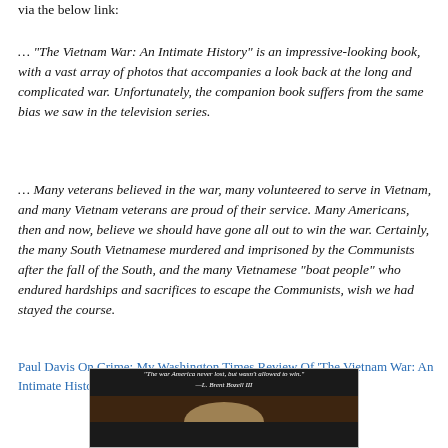via the below link:
… “The Vietnam War: An Intimate History” is an impressive-looking book, with a vast array of photos that accompanies a look back at the long and complicated war. Unfortunately, the companion book suffers from the same bias we saw in the television series.
… Many veterans believed in the war, many volunteered to serve in Vietnam, and many Vietnam veterans are proud of their service. Many Americans, then and now, believe we should have gone all out to win the war. Certainly, the many South Vietnamese murdered and imprisoned by the Communists after the fall of the South, and the many Vietnamese “boat people” who endured hardships and sacrifices to escape the Communists, wish we had stayed the course.
Paul Davis On Crime: My Washington Times Review Of 'The Vietnam War: An Intimate History'
[Figure (photo): Dark background image with white italic text quote: 'The war America never lost, but wasn't allowed to win.' —L. Brent Bozell III, with what appears to be a partially visible image at the bottom]